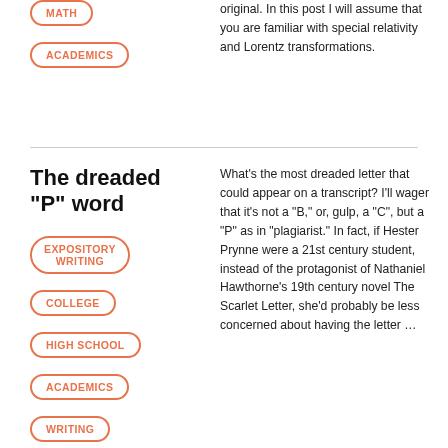MATH
ACADEMICS
original. In this post I will assume that you are familiar with special relativity and Lorentz transformations.
The dreaded “P” word
EXPOSITORY WRITING
COLLEGE
HIGH SCHOOL
ACADEMICS
WRITING
ACADEMIC
What’s the most dreaded letter that could appear on a transcript? I’ll wager that it’s not a “B,” or, gulp, a “C”, but a “P” as in “plagiarist.” In fact, if Hester Prynne were a 21st century student, instead of the protagonist of Nathaniel Hawthorne’s 19th century novel The Scarlet Letter, she’d probably be less concerned about having the letter …